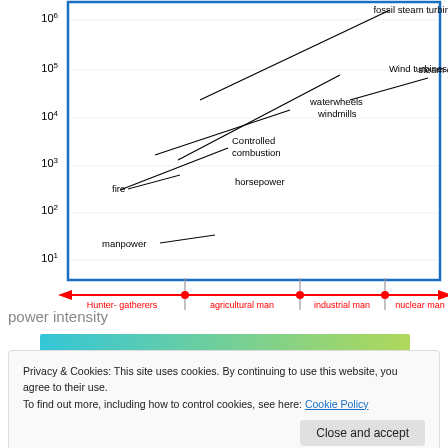[Figure (continuous-plot): Log-scale chart showing power intensity over time across human eras (Hunter-gatherers, agricultural man, industrial man, nuclear man). Y-axis runs from 10^1 to 10^6. Labeled technologies include: manpower, fire, horsepower, Controlled combustion, waterwheels/windmills, steam engines, fossil steam turbines, Wind turbines. A blue arrow pointing right labeled 'time' is shown. A red horizontal timeline at the bottom marks the four eras with vertical gray dividers.]
power intensity
[Figure (screenshot): WordPress advertisement banner: 'Create immersive stories. GET THE APP' with WordPress logo on a blue-green to yellow-green gradient background.]
Privacy & Cookies: This site uses cookies. By continuing to use this website, you agree to their use.
To find out more, including how to control cookies, see here: Cookie Policy
Close and accept